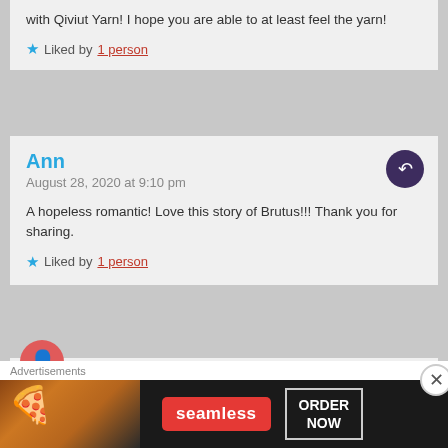with Qiviut Yarn! I hope you are able to at least feel the yarn!
Liked by 1 person
Ann
August 28, 2020 at 9:10 pm
A hopeless romantic! Love this story of Brutus!!! Thank you for sharing.
Liked by 1 person
martinupnorth
Advertisements
[Figure (infographic): Seamless food delivery advertisement banner with pizza image, red Seamless logo button, and ORDER NOW box]